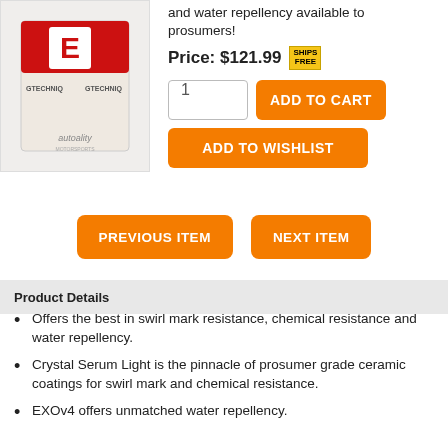[Figure (photo): Product photo of Gtechniq Crystal Serum Light + EXOv4 combo box, white and red packaging with Gtechniq branding, displayed on autoality.com]
and water repellency available to prosumers!
Price: $121.99 SHIPS FREE
1
ADD TO CART
ADD TO WISHLIST
PREVIOUS ITEM
NEXT ITEM
Product Details
Offers the best in swirl mark resistance, chemical resistance and water repellency.
Crystal Serum Light is the pinnacle of prosumer grade ceramic coatings for swirl mark and chemical resistance.
EXOv4 offers unmatched water repellency.